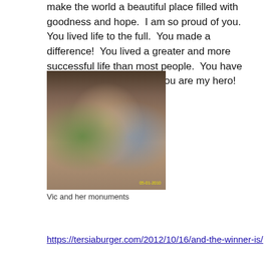make the world a beautiful place filled with goodness and hope.  I am so proud of you.  You lived life to the full.  You made a difference!  You lived a greater and more successful life than most people.  You have put the world to shame.  You are my hero!
[Figure (photo): A woman with two boys hugging and smiling, taken indoors at what appears to be a restaurant or event venue. A date stamp reads 05-01-2010 in yellow.]
Vic and her monuments
https://tersiaburger.com/2012/10/16/and-the-winner-is/